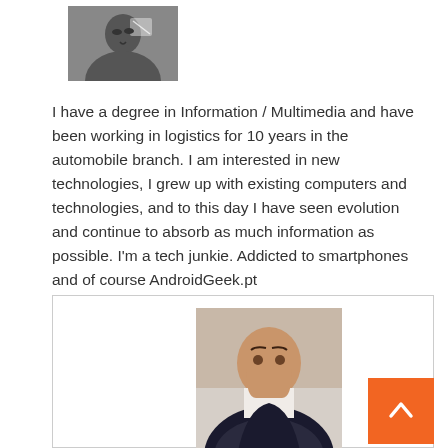[Figure (photo): Black and white profile photo of a person wearing glasses]
I have a degree in Information / Multimedia and have been working in logistics for 10 years in the automobile branch. I am interested in new technologies, I grew up with existing computers and technologies, and to this day I have seen evolution and continue to absorb as much information as possible. I'm a tech junkie. Addicted to smartphones and of course AndroidGeek.pt
[Figure (photo): Color photo of a young man smiling, wearing a dark jacket, in a card/box container]